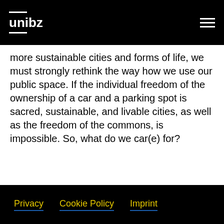unibz
more sustainable cities and forms of life, we must strongly rethink the way how we use our public space. If the individual freedom of the ownership of a car and a parking spot is sacred, sustainable, and livable cities, as well as the freedom of the commons, is impossible. So, what do we car(e) for?
Privacy  Cookie Policy  Imprint